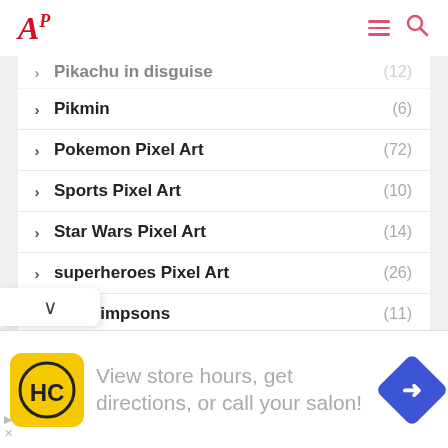AP logo, hamburger menu, search icon
Pikachu in disguise (12)
Pikmin (6)
Pokemon Pixel Art (72)
Sports Pixel Art (10)
Star Wars Pixel Art (14)
superheroes Pixel Art (26)
The Simpsons (11)
animals Pixel Art (78)
Valentine's Day (9)
Christmas Pixel Art (19)
Minion Pixel Art (40)
[Figure (screenshot): Advertisement banner: HC salon logo on yellow background, text 'View store hours, get directions, or call your salon!', blue diamond navigation icon]